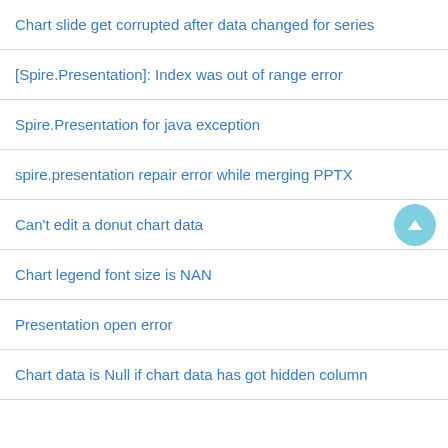Chart slide get corrupted after data changed for series
[Spire.Presentation]: Index was out of range error
Spire.Presentation for java exception
spire.presentation repair error while merging PPTX
Can't edit a donut chart data
Chart legend font size is NAN
Presentation open error
Chart data is Null if chart data has got hidden column